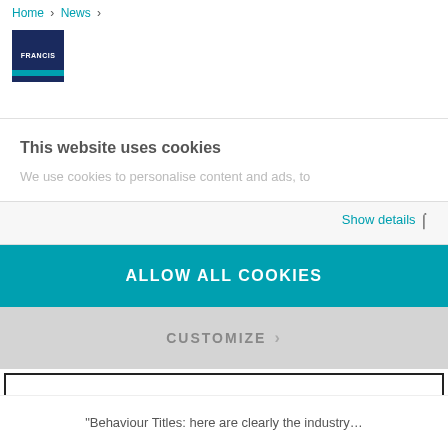Home > News >
[Figure (logo): Francis publisher logo, dark navy blue box with teal stripe at bottom]
This website uses cookies
We use cookies to personalise content and ads, to
Show details
ALLOW ALL COOKIES
CUSTOMIZE
ONLY NECESSARY COOKIES
Powered by Cookiebot by Usercentrics
"Behaviour Titles: here are clearly the industry…